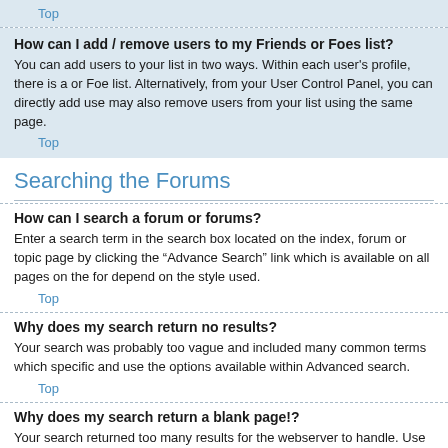Top
How can I add / remove users to my Friends or Foes list?
You can add users to your list in two ways. Within each user's profile, there is a or Foe list. Alternatively, from your User Control Panel, you can directly add use may also remove users from your list using the same page.
Top
Searching the Forums
How can I search a forum or forums?
Enter a search term in the search box located on the index, forum or topic page by clicking the "Advance Search" link which is available on all pages on the for depend on the style used.
Top
Why does my search return no results?
Your search was probably too vague and included many common terms which specific and use the options available within Advanced search.
Top
Why does my search return a blank page!?
Your search returned too many results for the webserver to handle. Use "Advan the terms used and forums that are to be searched.
Top